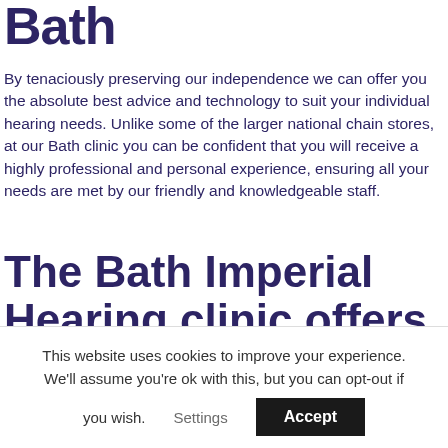Bath
By tenaciously preserving our independence we can offer you the absolute best advice and technology to suit your individual hearing needs. Unlike some of the larger national chain stores, at our Bath clinic you can be confident that you will receive a highly professional and personal experience, ensuring all your needs are met by our friendly and knowledgeable staff.
The Bath Imperial Hearing clinic offers the following services:
This website uses cookies to improve your experience. We'll assume you're ok with this, but you can opt-out if you wish.
Settings  Accept